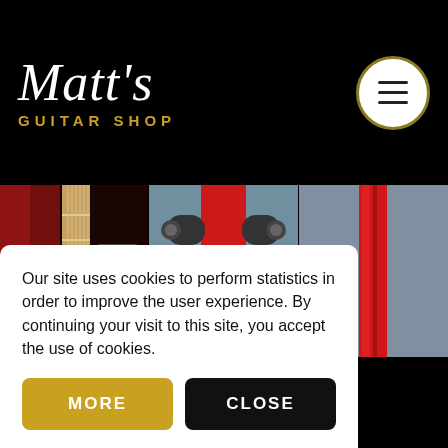[Figure (logo): Matt's Guitar Shop logo — white cursive 'Matt's' text above gold 'GUITAR SHOP' text, on black background]
[Figure (photo): Close-up of red electric guitar pickguard and bridge/pickup area]
[Figure (photo): Close-up of red electric guitar headstock tuning pegs, front view on blue-grey background]
[Figure (photo): Close-up of red electric guitar neck/body edge on blue-grey background]
[Figure (photo): Red Les-Paul style electric guitar leaning against decorative iron gate with blue door]
Our site uses cookies to perform statistics in order to improve the user experience. By continuing your visit to this site, you accept the use of cookies.
MORE
CLOSE